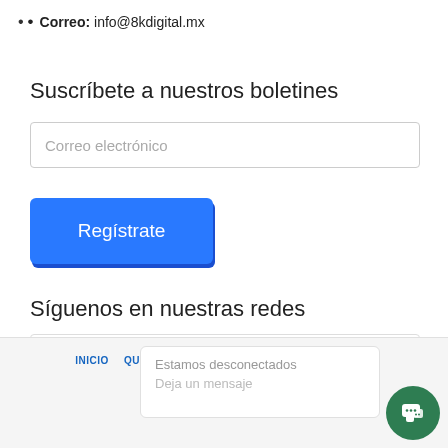Correo: info@8kdigital.mx
Suscríbete a nuestros boletines
Correo electrónico
[Figure (other): Blue 'Regístrate' button]
Síguenos en nuestras redes
[Figure (other): Facebook icon in a bordered box]
INICIO  QUIÉNES SOMOS  SOCIOS DE NEGOCIO  CASOS DE
Estamos desconectados
Deja un mensaje